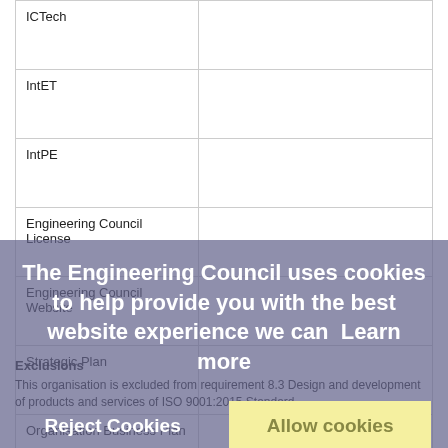|  |  |
| --- | --- |
| ICTech |  |
| IntET |  |
| IntPE |  |
| Engineering Council License |  |
| Engineering Council Website |  |
| Strategic Plan |  |
| Organisation Business Plan |  |
Exclusions
This organisation is excluded from requirement 8.3 Design and development of products and services of ISO 9001:2015 Standard.